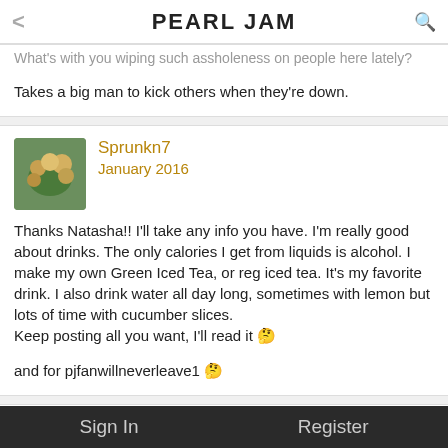PEARL JAM
What's with you wiping such assholeness on people here lately?

Takes a big man to kick others when they're down.
Sprunkn7
January 2016
Thanks Natasha!! I'll take any info you have. I'm really good about drinks. The only calories I get from liquids is alcohol. I make my own Green Iced Tea, or reg iced tea. It's my favorite drink. I also drink water all day long, sometimes with lemon but lots of time with cucumber slices.
Keep posting all you want, I'll read it 🤔

and for pjfanwillneverleave1 🤔
Thoughts_Arrive
Sign In    Register